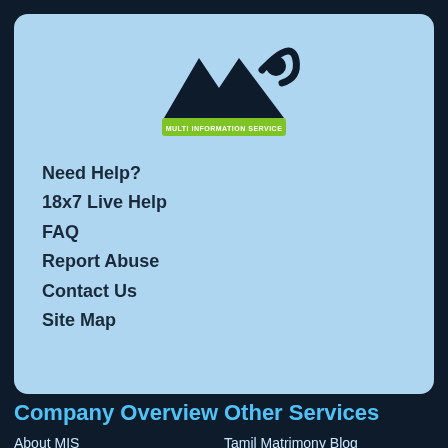[Figure (logo): MIS - Multi Information Service logo with mountain-style M and stylized letter combination on a green banner]
Need Help?
18x7 Live Help
FAQ
Report Abuse
Contact Us
Site Map
Company Overview
Other Services
About MIS
Tamil Matrimony Blog
Why MIS?
Wedding planning